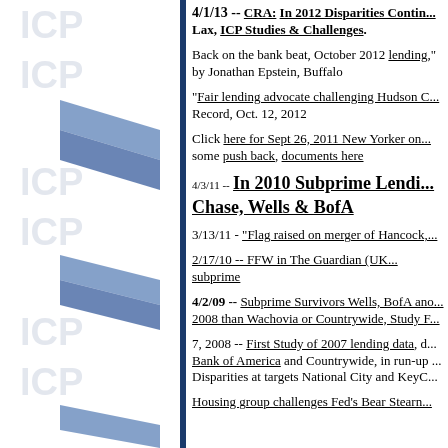[Figure (logo): ICP watermark logo repeated vertically on left panel with blue chevron/arrow shapes]
4/1/13 -- CRA: In 2012 Disparities Continue, Enforcement Lax, ICP Studies & Challenges.
Back on the bank beat, October 2012 ... lending, by Jonathan Epstein, Buffalo ...
"Fair lending advocate challenging Hudson C... Record, Oct. 12, 2012
Click here for Sept 26, 2011 New Yorker on... some push back, documents here
4/3/11 -- In 2010 Subprime Lending... Chase, Wells & BofA
3/13/11 - "Flag raised on merger of Hancock,...
2/17/10 -- FFW in The Guardian (UK... subprime
4/2/09 -- Subprime Survivors Wells, BofA and... 2008 than Wachovia or Countrywide, Study F...
7, 2008 -- First Study of 2007 lending data, d... Bank of America and Countrywide, in run-up... Disparities at targets National City and KeyC...
Housing group challenges Fed's Bear Stearn...